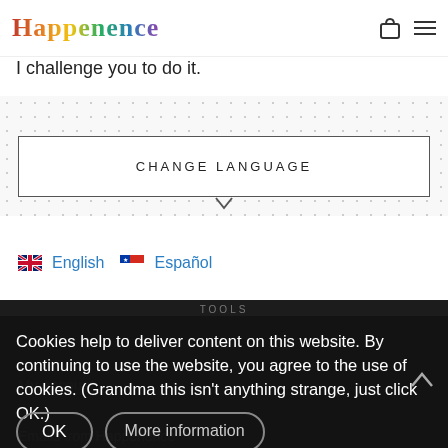Happenence
I challenge you to do it.
CHANGE LANGUAGE
English   Español
Cookies help to deliver content on this website. By continuing to use the website, you agree to the use of cookies. (Grandma this isn't anything strange, just click OK.)
OK
More information
My account
Emails from Happenence